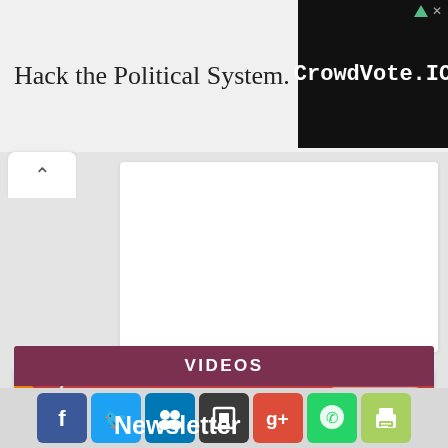Hack the Political System.
[Figure (screenshot): CrowdVote.IO advertisement banner with black background and white monospace text]
[Figure (screenshot): White card area with up-arrow tab on the left]
[Figure (infographic): Newsletter signup card with red header, FREE orange ribbon, envelope icon, email input, and SUBSCRIBE button. Text: Get top stories and blog posts emailed to you each day.]
VIDEOS
[Figure (infographic): Social share buttons: Facebook, Twitter, LinkedIn/MySpace, Delicious/AddThis, Google+, WhatsApp, Print]